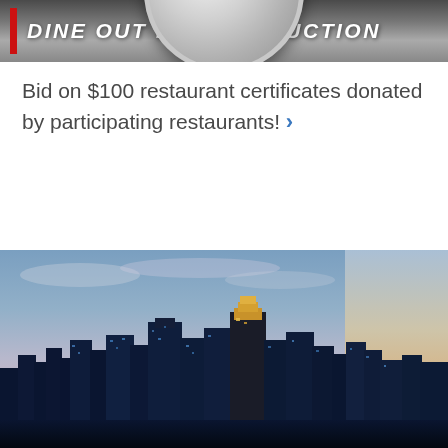[Figure (photo): Dine Out Boston Auction banner with red vertical bar and white bold italic text on dark gray/plate background]
Bid on $100 restaurant certificates donated by participating restaurants! >
[Figure (photo): Boston city skyline at dusk with illuminated skyscrapers against a twilight sky with pink and blue hues, split with a warm orange-toned right section]